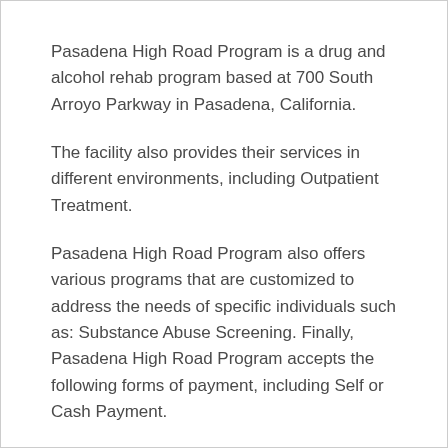Pasadena High Road Program is a drug and alcohol rehab program based at 700 South Arroyo Parkway in Pasadena, California.
The facility also provides their services in different environments, including Outpatient Treatment.
Pasadena High Road Program also offers various programs that are customized to address the needs of specific individuals such as: Substance Abuse Screening. Finally, Pasadena High Road Program accepts the following forms of payment, including Self or Cash Payment.